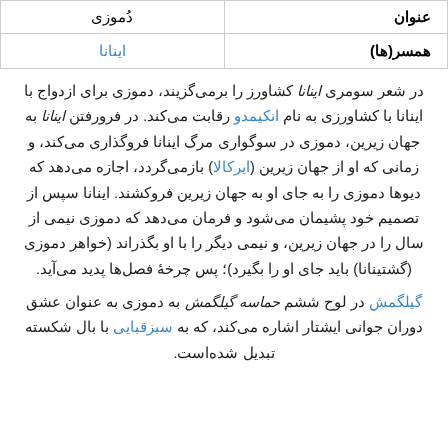| عنوان | دُموزی |
| --- | --- |
| همسر(ها) | اینانا |
در شعر سومری اینانا کشاورز را برمی‌گزیند، دموزی برای ازدواج با اینانا با کشاورزی به نام انکیمدو رقابت می‌کند. در فرورفتن اینانا به جهان زیرین، دموزی در سوگواری مرگ اینانا فروگذاری می‌کند، و زمانی که او از جهان زیرین (ایرکالا) بازمی‌گردد، اجازه می‌دهد که دیوها دموزی را به جای او به جهان زیرین فروکشند. اینانا سپس از تصمیم خود پشیمان می‌شود و فرمان می‌دهد که دموزی نیمی از سال را در جهان زیرین، و نیمی دیگر را با او بگذراند (خواهر دموزی (گشتینانا) باید جای او را بگیرد)؛ پس چرخهٔ فصل‌ها پدید می‌آید.
گیلگمش در لوح ششم حماسه گیلگمش به دموزی به عنوان عشق دوران جوانی ایشتار اشاره می‌کند، که به سبزقبایی با بال شکسته تبدیل شده‌است.